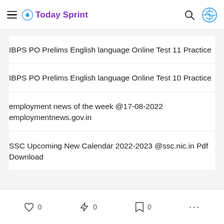Today Sprint
IBPS PO Prelims English language Online Test 11 Practice
IBPS PO Prelims English language Online Test 10 Practice
employment news of the week @17-08-2022 employmentnews.gov.in
SSC Upcoming New Calendar 2022-2023 @ssc.nic.in Pdf Download
0  0  0  ...